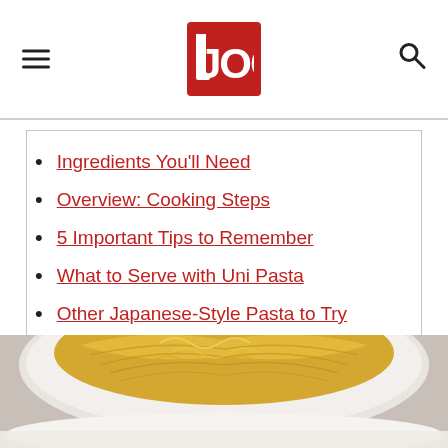JOC (Just One Cookbook) logo with hamburger menu and search icon
Ingredients You'll Need
Overview: Cooking Steps
5 Important Tips to Remember
What to Serve with Uni Pasta
Other Japanese-Style Pasta to Try
[Figure (photo): A white bowl of golden/yellow spaghetti pasta (uni pasta) photographed from slightly above, on a light gray background. The pasta is piled high with a creamy sauce visible. Bottom portion shows the edge of the bowl from below.]